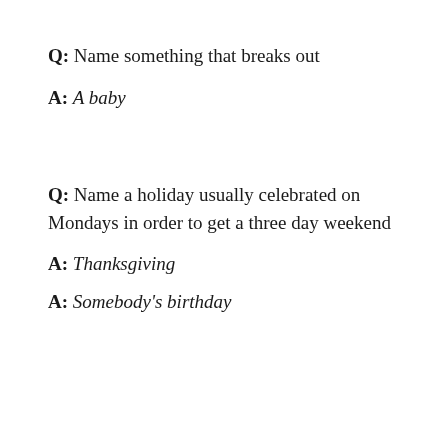Q: Name something that breaks out
A: A baby
Q: Name a holiday usually celebrated on Mondays in order to get a three day weekend
A: Thanksgiving
A: Somebody's birthday